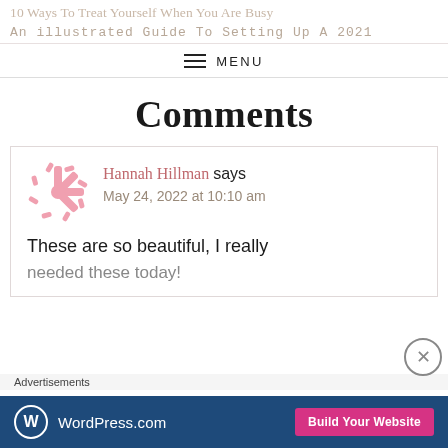10 Ways To Treat Yourself When You Are Busy
An Illustrated Guide To Setting Up A 2021
≡ MENU
Comments
Hannah Hillman says
May 24, 2022 at 10:10 am
These are so beautiful, I really needed these today!
Advertisements
[Figure (logo): WordPress.com advertisement banner with blue background, WordPress logo on left and pink 'Build Your Website' button on right]